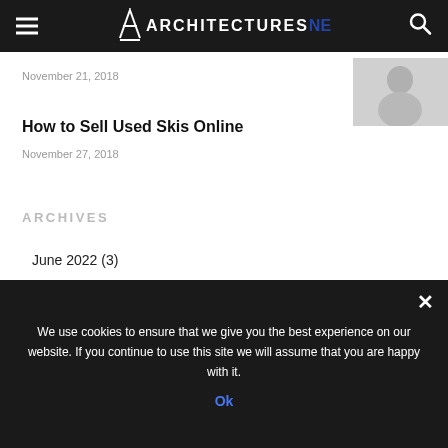ARCHITECTURES NE (navigation bar with logo, hamburger menu, and search icon)
November 21, 2018
[Figure (photo): Small thumbnail image of a person, grayscale, shown in top right corner]
How to Sell Used Skis Online
November 27, 2018
ARCHIVES
June 2022 (3)
May 2022 (10)
We use cookies to ensure that we give you the best experience on our website. If you continue to use this site we will assume that you are happy with it.
Ok